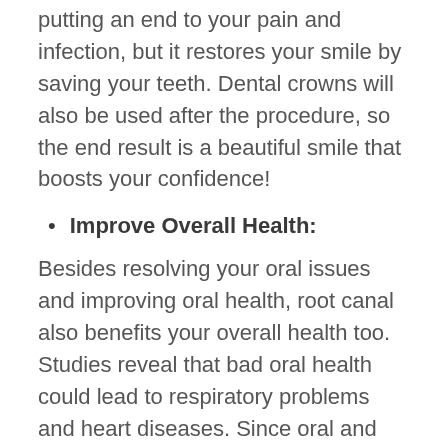canal treatment is not just effective in putting an end to your pain and infection, but it restores your smile by saving your teeth. Dental crowns will also be used after the procedure, so the end result is a beautiful smile that boosts your confidence!
Improve Overall Health:
Besides resolving your oral issues and improving oral health, root canal also benefits your overall health too. Studies reveal that bad oral health could lead to respiratory problems and heart diseases. Since oral and overall health are tied together in many ways, eliminating dental